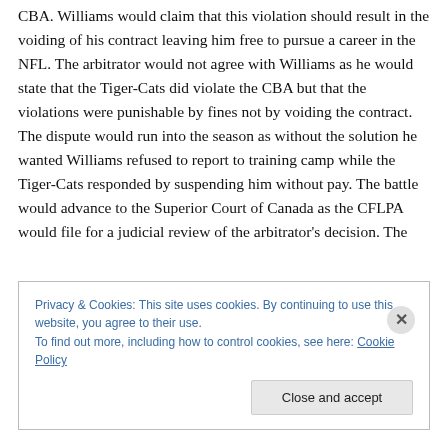CBA. Williams would claim that this violation should result in the voiding of his contract leaving him free to pursue a career in the NFL. The arbitrator would not agree with Williams as he would state that the Tiger-Cats did violate the CBA but that the violations were punishable by fines not by voiding the contract. The dispute would run into the season as without the solution he wanted Williams refused to report to training camp while the Tiger-Cats responded by suspending him without pay. The battle would advance to the Superior Court of Canada as the CFLPA would file for a judicial review of the arbitrator's decision. The
Privacy & Cookies: This site uses cookies. By continuing to use this website, you agree to their use.
To find out more, including how to control cookies, see here: Cookie Policy